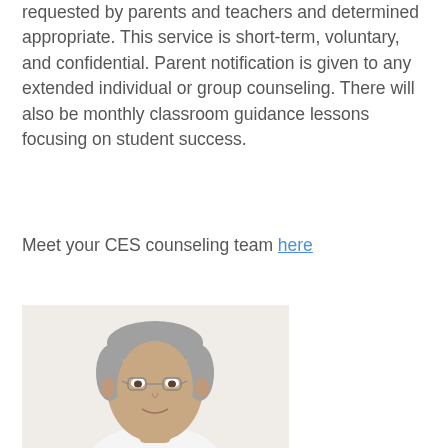requested by parents and teachers and determined appropriate. This service is short-term, voluntary, and confidential. Parent notification is given to any extended individual or group counseling. There will also be monthly classroom guidance lessons focusing on student success.
Meet your CES counseling team here
[Figure (photo): Headshot of a middle-aged man with short grey hair, glasses, and a slight smile, wearing a white shirt. Light background.]